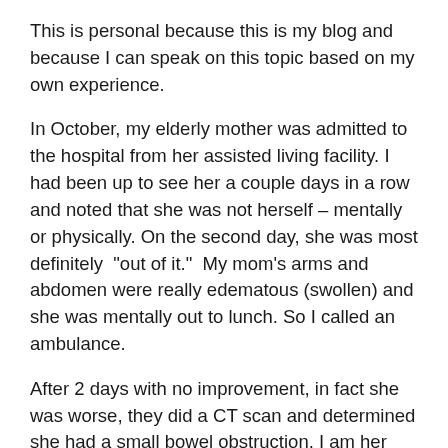This is personal because this is my blog and because I can speak on this topic based on my own experience.
In October, my elderly mother was admitted to the hospital from her assisted living facility. I had been up to see her a couple days in a row and noted that she was not herself – mentally or physically. On the second day, she was most definitely “out of it.”  My mom’s arms and abdomen were really edematous (swollen) and she was mentally out to lunch. So I called an ambulance.
After 2 days with no improvement, in fact she was worse, they did a CT scan and determined she had a small bowel obstruction. I am her medical POA (power of attorney) and she was, I thought, lucid enough to know and make the decisions regarding her care. At one point she said to me “I think I’m strong enough for this surgery, don’t you?”